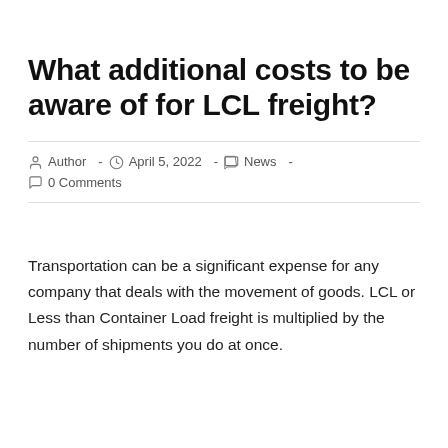What additional costs to be aware of for LCL freight?
Author  -  April 5, 2022  -  News  -  0 Comments
Transportation can be a significant expense for any company that deals with the movement of goods. LCL or Less than Container Load freight is multiplied by the number of shipments you do at once.